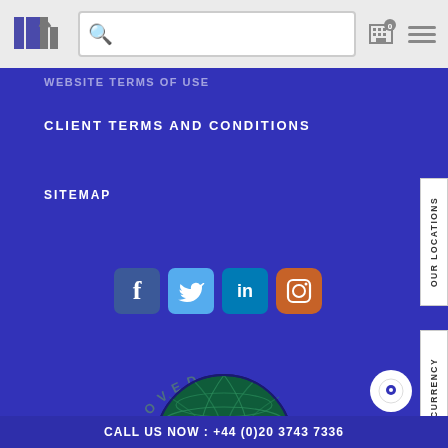JN logo + search bar + icons
WEBSITE TERMS OF USE
CLIENT TERMS AND CONDITIONS
SITEMAP
[Figure (logo): Social media icons: Facebook, Twitter, LinkedIn, Instagram]
[Figure (logo): ISAAP Approved Agent 2022 globe badge with text APPROVED arced around top, AGENT 2022 below]
CALL US NOW : +44 (0)20 3743 7336